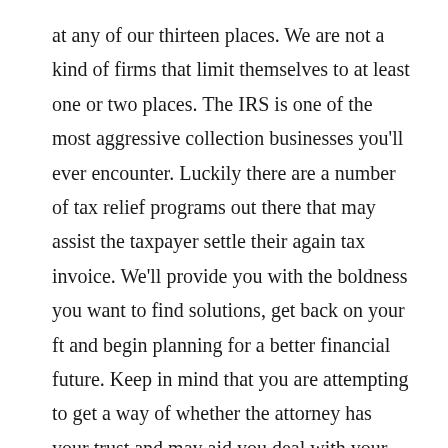at any of our thirteen places. We are not a kind of firms that limit themselves to at least one or two places. The IRS is one of the most aggressive collection businesses you'll ever encounter. Luckily there are a number of tax relief programs out there that may assist the taxpayer settle their again tax invoice. We'll provide you with the boldness you want to find solutions, get back on your ft and begin planning for a better financial future. Keep in mind that you are attempting to get a way of whether the attorney has your trust and may aid you deal with your authorized issues. The quantity of gross earnings an individual can have earlier than an obligation to file income taxes is predicated on one's age and filing standing. The primary manner to reduce the taxes you owe is to lower your income. This is the first manner that many tax regulation attorneys in Orlando. The State Bar of Arizona's Board of